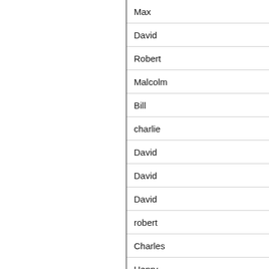| Name |
| --- |
| Max |
| David |
| Robert |
| Malcolm |
| Bill |
| charlie |
| David |
| David |
| David |
| robert |
| Charles |
| Henry |
| richard |
| Dan |
| Seth |